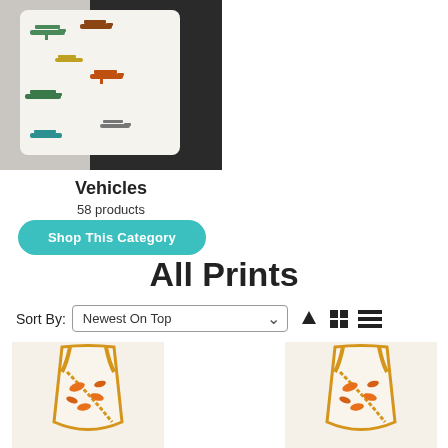[Figure (photo): Person holding a baby bib with a vintage airplane/vehicles print pattern on white fabric]
Vehicles
58 products
Shop This Category
All Prints
Sort By: Newest On Top
[Figure (photo): Baby sleep sack/wearable blanket with orange dinosaur print on cream fabric with mustard yellow trim]
[Figure (photo): Baby sleep sack/wearable blanket with orange dinosaur print on cream fabric with mustard yellow trim (second product)]